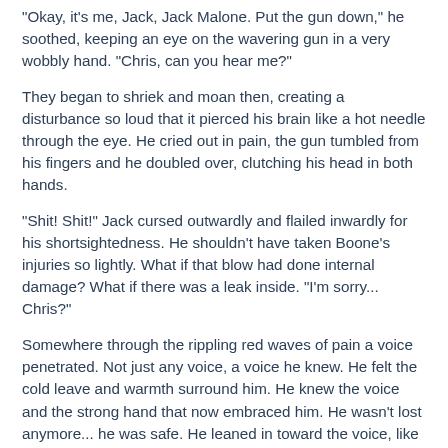"Okay, it's me, Jack, Jack Malone. Put the gun down," he soothed, keeping an eye on the wavering gun in a very wobbly hand. "Chris, can you hear me?"
They began to shriek and moan then, creating a disturbance so loud that it pierced his brain like a hot needle through the eye. He cried out in pain, the gun tumbled from his fingers and he doubled over, clutching his head in both hands.
"Shit! Shit!" Jack cursed outwardly and flailed inwardly for his shortsightedness. He shouldn't have taken Boone's injuries so lightly. What if that blow had done internal damage? What if there was a leak inside. "I'm sorry... Chris?"
Somewhere through the rippling red waves of pain a voice penetrated. Not just any voice, a voice he knew. He felt the cold leave and warmth surround him. He knew the voice and the strong hand that now embraced him. He wasn't lost anymore... he was safe. He leaned in toward the voice, like a lost ship seeking that beacon.
"J...j....j...a...c...k..."